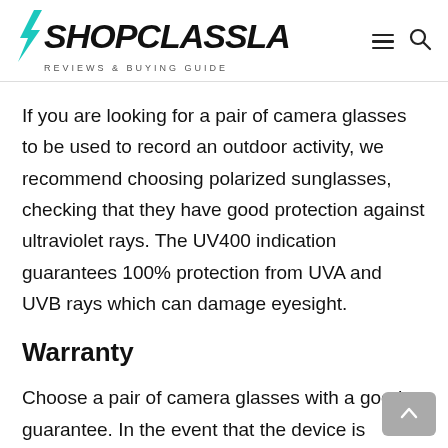SHOPCLASSLA — REVIEWS & BUYING GUIDE
If you are looking for a pair of camera glasses to be used to record an outdoor activity, we recommend choosing polarized sunglasses, checking that they have good protection against ultraviolet rays. The UV400 indication guarantees 100% protection from UVA and UVB rays which can damage eyesight.
Warranty
Choose a pair of camera glasses with a good guarantee. In the event that the device is